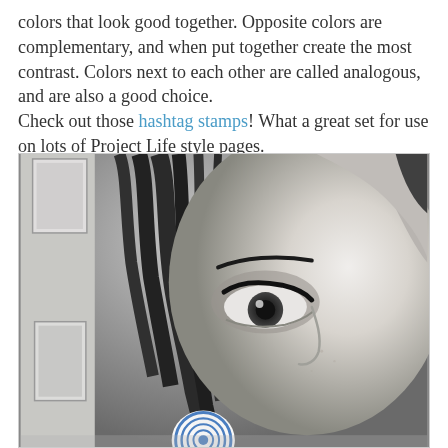colors that look good together. Opposite colors are complementary, and when put together create the most contrast. Colors next to each other are called analogous, and are also a good choice.
Check out those hashtag stamps! What a great set for use on lots of Project Life style pages.
[Figure (photo): Black and white close-up photograph of a woman's face, showing her eye and hair, with a small circular stamp/sticker visible at the bottom. A framed picture is partially visible on the left side.]